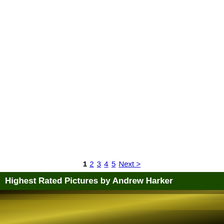1 2 3 4 5 Next >
Highest Rated Pictures by Andrew Harker
[Figure (photo): Partial view of a landscape or nature photo with yellow-green and dark tones, appearing at the bottom of the page]